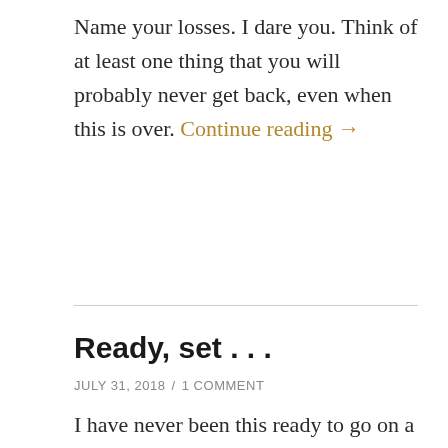Name your losses. I dare you. Think of at least one thing that you will probably never get back, even when this is over. Continue reading →
Ready, set . . .
JULY 31, 2018  /  1 COMMENT
I have never been this ready to go on a trip so far in advance. One full day to go and my bags are packed, the last laundry is done, the